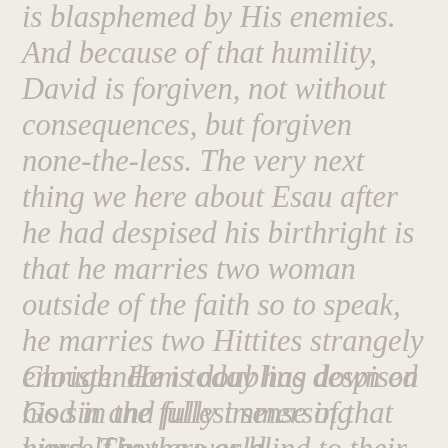is blasphemed by His enemies. And because of that humility, David is forgiven, not without consequences, but forgiven none-the-less. The very next thing we here about Esau after he had despised his birthright is that he marries two woman outside of the faith so to speak, he marries two Hittites strangely enough. He is doubling down on his sin and fully immersing himself in the world.
Christendom today has despised God in the fullest sense of that word. They are as blind to their sin as David was. And